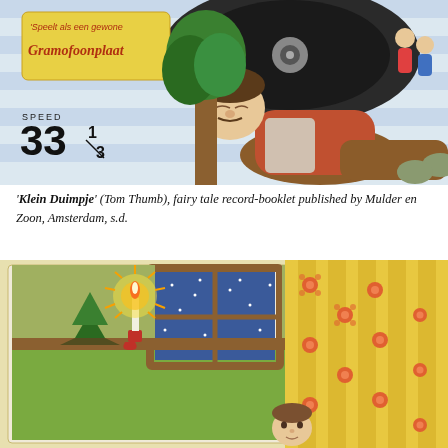[Figure (illustration): Fairy tale record-booklet cover showing a large man lying against a tree, a vinyl record in the background, text 'Speelt als een gewone Gramofoonplaat' on a label, 'SPEED 33 1/3' printed on the cover, with small children figures visible behind the tree.]
'Klein Duimpje' (Tom Thumb), fairy tale record-booklet published by Mulder en Zoon, Amsterdam, s.d.
[Figure (illustration): Illustration from a children's fairy tale booklet showing a room interior with a glowing candle on a shelf, a small Christmas tree, a night window with stars, and a yellow floral curtain with a child's face peeking out from behind it.]